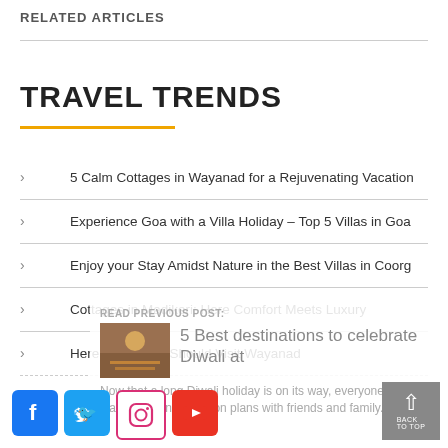RELATED ARTICLES
TRAVEL TRENDS
5 Calm Cottages in Wayanad for a Rejuvenating Vacation
Experience Goa with a Villa Holiday – Top 5 Villas in Goa
Enjoy your Stay Amidst Nature in the Best Villas in Coorg
Cottages in Madikeri: Here Comfort Meets Luxury
Here's Why You Should Visit Wayanad
READ PREVIOUS POST:
5 Best destinations to celebrate Diwali at
Now that a long Diwali holiday is on its way, everyone has started making vacation plans with friends and family....
[Figure (screenshot): Social media icons: Facebook, Twitter, Instagram, YouTube]
[Figure (other): Back to top button with upward arrow]